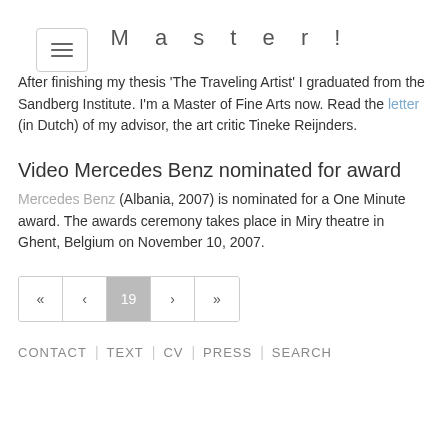[Figure (other): Hamburger menu button with three horizontal lines, inside a rounded rectangle border]
Master!
After finishing my thesis 'The Traveling Artist' I graduated from the Sandberg Institute. I'm a Master of Fine Arts now. Read the letter (in Dutch) of my advisor, the art critic Tineke Reijnders.
Video Mercedes Benz nominated for award
Mercedes Benz (Albania, 2007) is nominated for a One Minute award. The awards ceremony takes place in Miry theatre in Ghent, Belgium on November 10, 2007.
[Figure (other): Pagination control showing buttons: «, <, 19 (active/highlighted), >, »]
CONTACT | TEXT | CV | PRESS | SEARCH